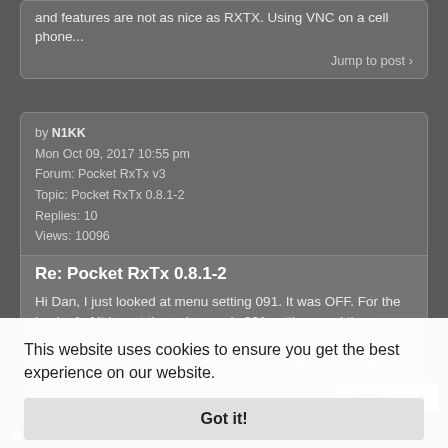and features are not as nice as RXTX. Using VNC on a cell phone...
Jump to post
by N1KK
Mon Oct 09, 2017 10:55 pm
Forum: Pocket RxTx v3
Topic: Pocket RxTx 0.8.1-2
Replies: 10
Views: 10096
Re: Pocket RxTx 0.8.1-2
Hi Dan, I just looked at menu setting 091. It was OFF. For the heck of of it I went through menu's 091 settings and then returned to the OFF setting. When I exited out I noticed the small symbol in the bottom left corner was gone. To repeat, it was OFF. I went through the settings with the Main tuni...
Jump to post
This website uses cookies to ensure you get the best experience on our website.
Got it!
My Homepage • Board index  All times are UTC+02:00